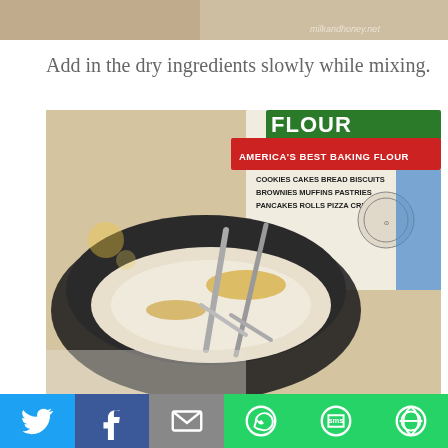[Figure (photo): Top portion of a food photo showing a baked item, partially cropped, with watermark text 'milkandhoney.net' in bottom right corner]
Add in the dry ingredients slowly while mixing.
[Figure (photo): Close-up photo of a mixing bowl with flour being mixed in, a hand mixer visible, and a bag of organic baking flour in the background labeled 'America's Best Baking Flour' with text: Cookies Cakes Bread Biscuits Brownies Muffins Pastries Pancakes Rolls Pizza Crust Pies]
[Figure (infographic): Social sharing bar at the bottom with buttons for Twitter (blue bird icon), Facebook (blue f icon), Email (grey envelope icon), WhatsApp (green phone icon), SMS (green speech bubble), and More (green circular icon)]